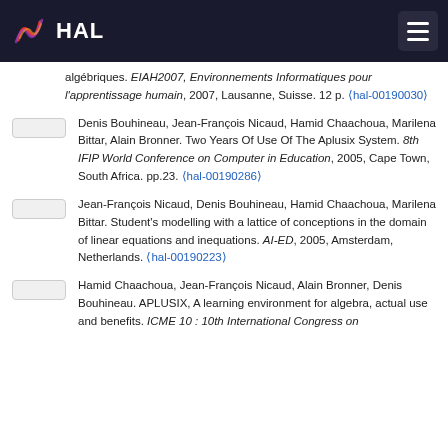HAL
algébriques. EIAH2007, Environnements Informatiques pour l'apprentissage humain, 2007, Lausanne, Suisse. 12 p. ⟨hal-00190030⟩
Denis Bouhineau, Jean-François Nicaud, Hamid Chaachoua, Marilena Bittar, Alain Bronner. Two Years Of Use Of The Aplusix System. 8th IFIP World Conference on Computer in Education, 2005, Cape Town, South Africa. pp.23. ⟨hal-00190286⟩
Jean-François Nicaud, Denis Bouhineau, Hamid Chaachoua, Marilena Bittar. Student's modelling with a lattice of conceptions in the domain of linear equations and inequations. AI-ED, 2005, Amsterdam, Netherlands. ⟨hal-00190223⟩
Hamid Chaachoua, Jean-François Nicaud, Alain Bronner, Denis Bouhineau. APLUSIX, A learning environment for algebra, actual use and benefits. ICME 10 : 10th International Congress on